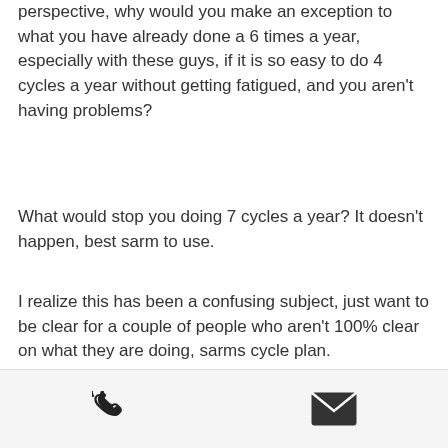perspective, why would you make an exception to what you have already done a 6 times a year, especially with these guys, if it is so easy to do 4 cycles a year without getting fatigued, and you aren't having problems?
What would stop you doing 7 cycles a year? It doesn't happen, best sarm to use.
I realize this has been a confusing subject, just want to be clear for a couple of people who aren't 100% clear on what they are doing, sarms cycle plan.
Thanks,
[Figure (other): Footer bar with phone icon on the left and email/envelope icon on the right]